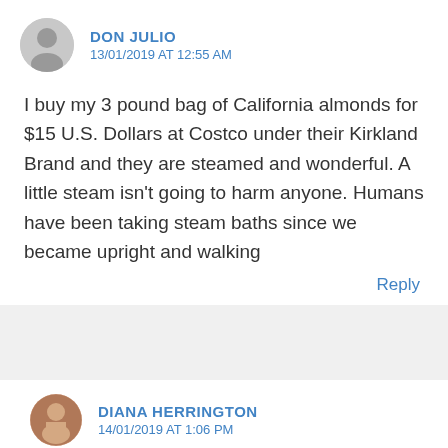[Figure (illustration): Default user avatar icon — grey circle with silhouette of person]
DON JULIO
13/01/2019 AT 12:55 AM
I buy my 3 pound bag of California almonds for $15 U.S. Dollars at Costco under their Kirkland Brand and they are steamed and wonderful. A little steam isn't going to harm anyone. Humans have been taking steam baths since we became upright and walking
Reply
[Figure (photo): Small circular profile photo of Diana Herrington]
DIANA HERRINGTON
14/01/2019 AT 1:06 PM